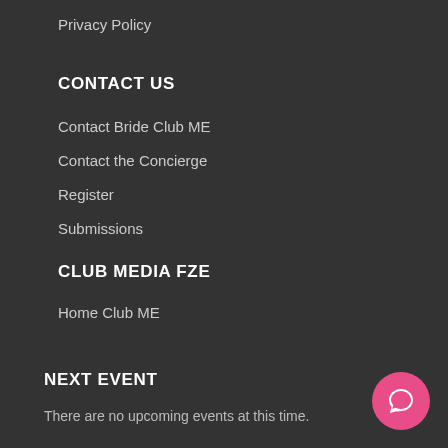Privacy Policy
CONTACT US
Contact Bride Club ME
Contact the Concierge
Register
Submissions
CLUB MEDIA FZE
Home Club ME
NEXT EVENT
There are no upcoming events at this time.
[Figure (illustration): Pink circular chat/message button icon in the bottom right corner]